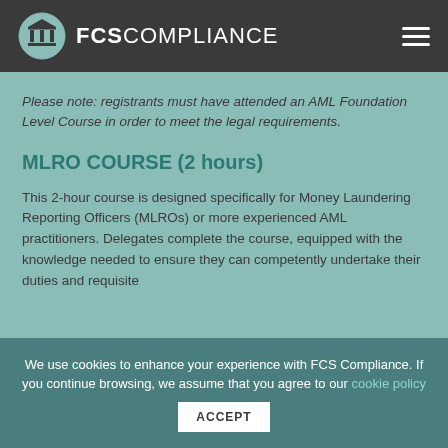FCS COMPLIANCE
Please note: registrants must have attended an AML Foundation Level Course in order to meet the legal requirements.
MLRO COURSE (2 hours)
This 2-hour course is designed specifically for Money Laundering Reporting Officers (MLROs) or more experienced AML practitioners. Delegates complete the course, equipped with the knowledge needed to ensure they can competently undertake their duties and requisite
We use cookies to enhance your experience with FCS Compliance. If you continue browsing, we assume that you agree to our cookie policy